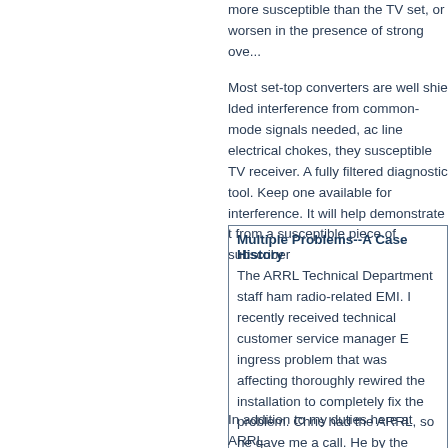more susceptible than the TV set, or worsen in the presence of strong ove...
Most set-top converters are well shielded interference from common-mode signals needed, ac line electrical chokes, they susceptible TV receiver. A fully filtered diagnostic tool. Keep one available for interference. It will help demonstrate t from a susceptible piece of subscriber
Multiple Problems--A Case History
The ARRL Technical Department staff ham radio-related EMI. I recently received technical customer service manager E ingress problem that was affecting thoroughly rewired the installation to completely fix the problem. Chris had the ARRL, so he gave me a call. He by the cable repair crew. I agreed with to the cable system.
In addition to my duties here at ARRL